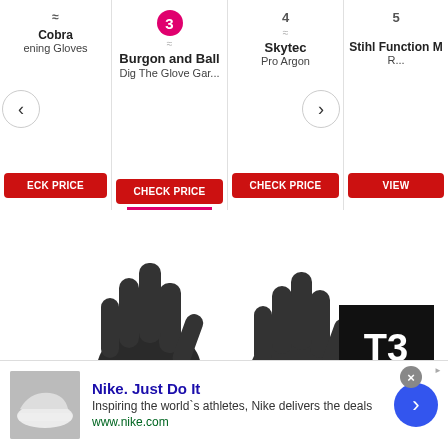[Figure (screenshot): Navigation carousel showing product listings: item 2 Cobra Gardening Gloves (partially visible), item 3 Burgon and Ball Dig The Glove Gar... (active/selected, pink underline), item 4 Skytec Pro Argon, item 5 Stihl Function M... (partially visible). Each has a red CHECK PRICE button. Left and right navigation arrows.]
[Figure (photo): Two black Skytec Pro Argon gloves shown front and back view. Both gloves are dark charcoal/black with 'SKYTEC ARGON' branding label visible on the left glove wrist area. Gloves have a textured palm coating.]
[Figure (logo): T3 Approved badge - black square with bold white T3 text and red APPROVED strip at the bottom]
(Image credit: Skytec )
4. SKYTEC PRO ARGON
[Figure (screenshot): Nike advertisement banner: Nike. Just Do It — Inspiring the world's athletes, Nike delivers the deals — www.nike.com — with Nike shoe product photo on left and blue arrow button on right]